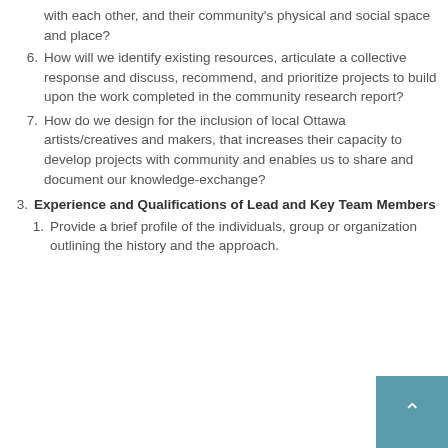with each other, and their community's physical and social space and place?
6. How will we identify existing resources, articulate a collective response and discuss, recommend, and prioritize projects to build upon the work completed in the community research report?
7. How do we design for the inclusion of local Ottawa artists/creatives and makers, that increases their capacity to develop projects with community and enables us to share and document our knowledge-exchange?
3. Experience and Qualifications of Lead and Key Team Members
1. Provide a brief profile of the individuals, group or organization outlining the history and the approach.